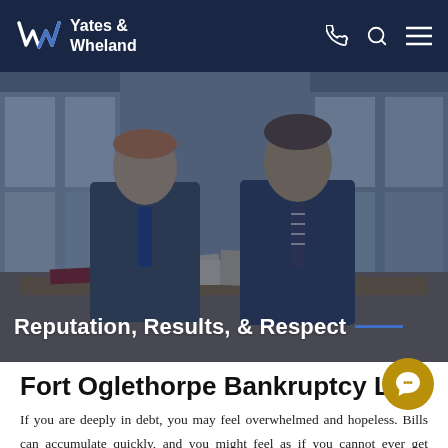Yates & Wheland
[Figure (photo): Two male attorneys in suits sitting at a desk with legal documents and files, in an office with windows behind them. The image has a dark blue overlay tint.]
Reputation, Results, & Respect
Fort Oglethorpe Bankruptcy Lawyers
If you are deeply in debt, you may feel overwhelmed and hopeless. Bills can accumulate quickly, and you might feel as if you cannot ever get ahead. Our team of Fort Oglethorpe bankruptcy lawyers could help relieve